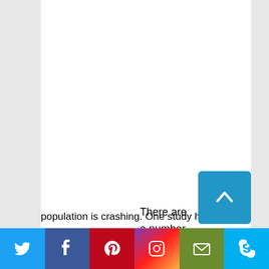There are a number of reasons the
population is crashing. One study has linked